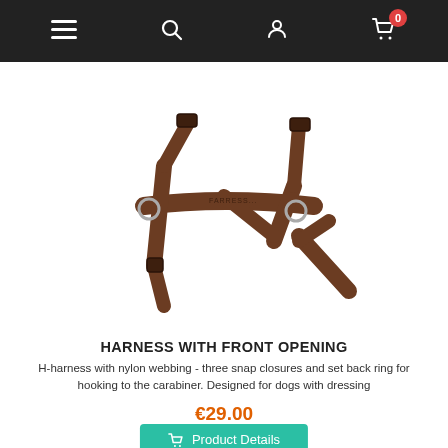[Figure (photo): Brown dog harness with front opening, showing H-harness design with nylon webbing, three snap closures, and back ring]
HARNESS WITH FRONT OPENING
H-harness with nylon webbing - three snap closures and set back ring for hooking to the carabiner. Designed for dogs with dressing
€29.00
Product Details
In stock